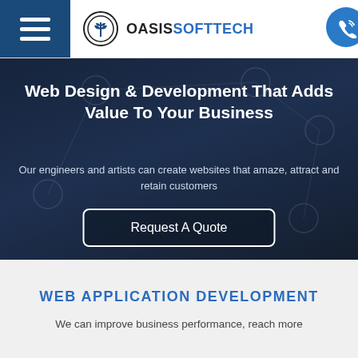[Figure (logo): OasisSoftTech logo with hamburger menu on left and phone icon on right]
Web Design & Development That Adds Value To Your Business
Our engineers and artists can create websites that amaze, attract and retain customers
Request A Quote
WEB APPLICATION DEVELOPMENT
We can improve business performance, reach more